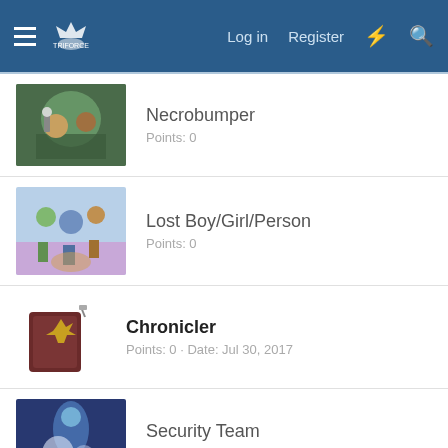Log in  Register
Necrobumper
Points: 0
Lost Boy/Girl/Person
Points: 0
Chronicler
Points: 0 · Date: Jul 30, 2017
Security Team
Points: 0
Mog Boss
Points: 0